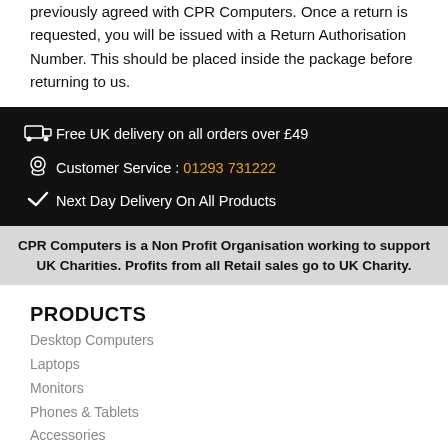previously agreed with CPR Computers. Once a return is requested, you will be issued with a Return Authorisation Number. This should be placed inside the package before returning to us.
Free UK delivery on all orders over £49
Customer Service : 01293 731222
Next Day Delivery On All Products
CPR Computers is a Non Profit Organisation working to support UK Charities. Profits from all Retail sales go to UK Charity.
PRODUCTS
Desktop Computers
Laptops
Monitors
Phones & Tablets
Accessories
SUPPORT
How To Buy
Delivery & Returns
Product Warranty
COMPANY INFO